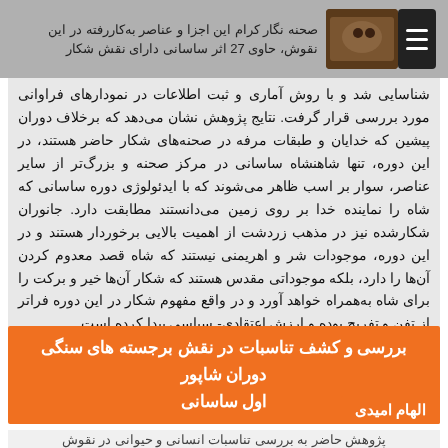صحنه نگار کرام این اجزا و عناصر به‌کاررفته در این نقوش، حاوی 27 اثر ساسانی دارای نقش شکار
شناسایی شد و با روش آماری و ثبت اطلاعات در نمودارهای فراوانی مورد بررسی قرار گرفت. نتایج پژوهش نشان می‌دهد که برخلاف دوران پیشین که خدایان و طبقات مرفه در صحنه‌های شکار حاضر هستند، در این دوره، تنها شاهنشاه ساسانی در مرکز صحنه و بزرگ‌تر از سایر عناصر، سوار بر اسب ظاهر می‌شوند که با ایدئولوژی دوره ساسانی که شاه را نماینده خدا بر روی زمین می‌دانستند مطابقت دارد. جانوران شکارشده نیز در مذهب زردشت از اهمیت بالایی برخوردار هستند و در این دوره، موجودات شر و اهریمنی نیستند که شاه قصد معدوم کردن آن‌ها را دارد، بلکه موجوداتی مقدس هستند که شکار آن‌ها خیر و برکت را برای شاه به‌همراه خواهد آورد و در واقع مفهوم شکار در این دوره فراتر از تفن و تفریح بوده و ارزش اعتقادی- سیاسی پیدا کرده است.
بررسی و کشف تناسبات در نقش برجسته های سنگی دوران شاپور اول ساسانی
الهام امیدی
پژوهش حاضر به بررسی تناسبات انسانی و حیوانی در نقوش